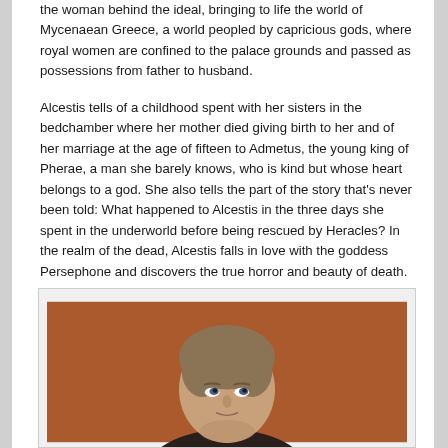the woman behind the ideal, bringing to life the world of Mycenaean Greece, a world peopled by capricious gods, where royal women are confined to the palace grounds and passed as possessions from father to husband.
Alcestis tells of a childhood spent with her sisters in the bedchamber where her mother died giving birth to her and of her marriage at the age of fifteen to Admetus, the young king of Pherae, a man she barely knows, who is kind but whose heart belongs to a god. She also tells the part of the story that's never been told: What happened to Alcestis in the three days she spent in the underworld before being rescued by Heracles? In the realm of the dead, Alcestis falls in love with the goddess Persephone and discovers the true horror and beauty of death.
[Figure (photo): Portrait photo of a person with short brown hair looking upward, against a reddish-brown background]